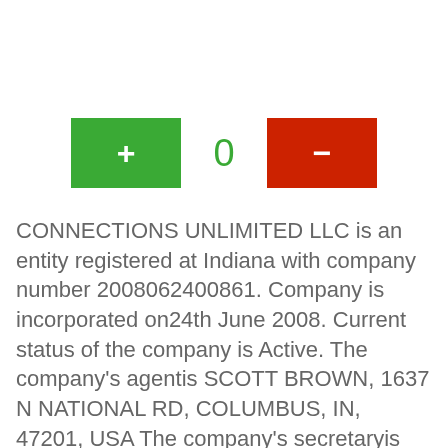[Figure (other): Interactive counter widget with green plus button, zero counter display in green, and red minus button]
CONNECTIONS UNLIMITED LLC is an entity registered at Indiana with company number 2008062400861. Company is incorporated on24th June 2008. Current status of the company is Active. The company's agentis SCOTT BROWN, 1637 N NATIONAL RD, COLUMBUS, IN, 47201, USA The company's secretaryis Michele Brown , 1637 N National Rd, Columbus, IN, 47201, USA